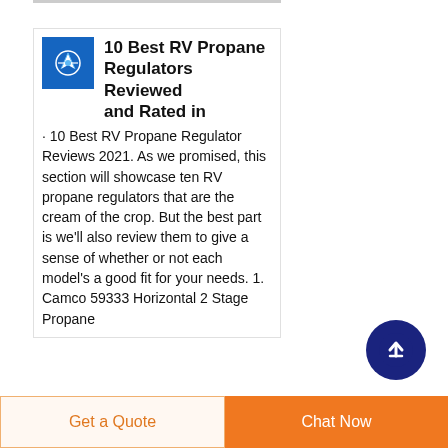10 Best RV Propane Regulators Reviewed and Rated in
10 Best RV Propane Regulator Reviews 2021. As we promised, this section will showcase ten RV propane regulators that are the cream of the crop. But the best part is we'll also review them to give a sense of whether or not each model's a good fit for your needs. 1. Camco 59333 Horizontal 2 Stage Propane
[Figure (logo): Back to top button: dark navy blue circle with white upward arrow]
Get a Quote
Chat Now